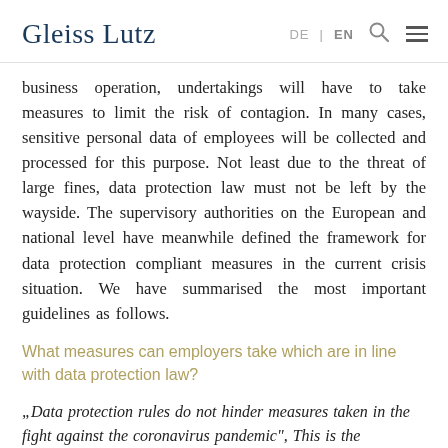Gleiss Lutz | DE | EN
business operation, undertakings will have to take measures to limit the risk of contagion. In many cases, sensitive personal data of employees will be collected and processed for this purpose. Not least due to the threat of large fines, data protection law must not be left by the wayside. The supervisory authorities on the European and national level have meanwhile defined the framework for data protection compliant measures in the current crisis situation. We have summarised the most important guidelines as follows.
What measures can employers take which are in line with data protection law?
„Data protection rules do not hinder measures taken in the fight against the coronavirus pandemic“, This is the